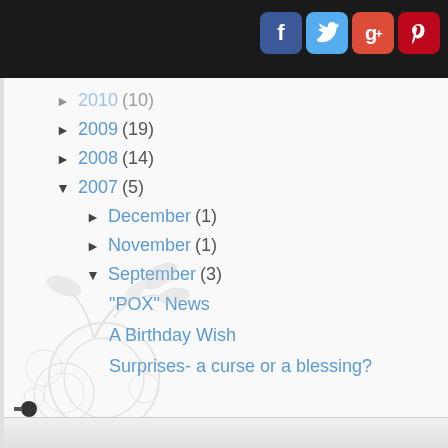[Figure (illustration): Social media icons row: Facebook (blue), Twitter (light blue), Google+ (red), Pinterest (dark red) in rounded square buttons]
► 2010 (10)
► 2009 (19)
► 2008 (14)
▼ 2007 (5)
► December (1)
► November (1)
▼ September (3)
"POX" News
A Birthday Wish
Surprises- a curse or a blessing?
[Figure (illustration): Decorative floral and circles design at bottom left of page]